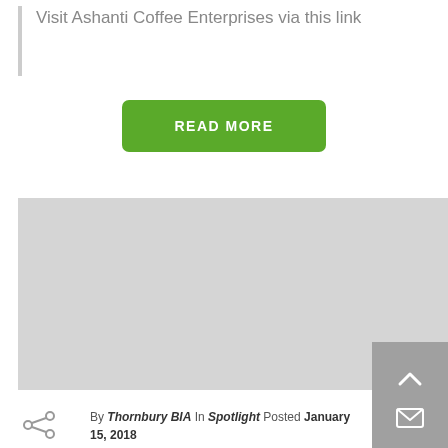Visit Ashanti Coffee Enterprises via this link
READ MORE
[Figure (photo): Large gray placeholder image area representing a photo or map]
By Thornbury BIA In Spotlight Posted January 15, 2018